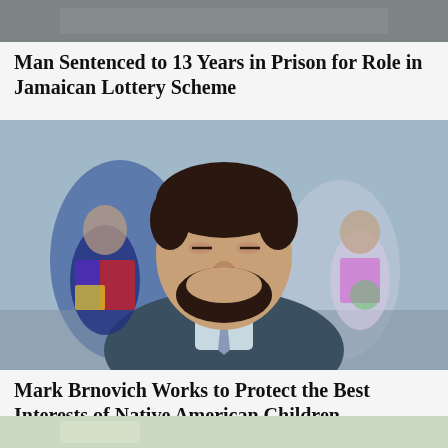[Figure (photo): Partial news article image at top of page, cropped photograph]
Man Sentenced to 13 Years in Prison for Role in Jamaican Lottery Scheme
[Figure (photo): Photograph of Mark Brnovich, a man in a dark suit with a beard, smiling, with children visible in the background]
Mark Brnovich Works to Protect the Best Interests of Native American Children
[Figure (photo): Partial news article image at bottom of page, cropped photograph]